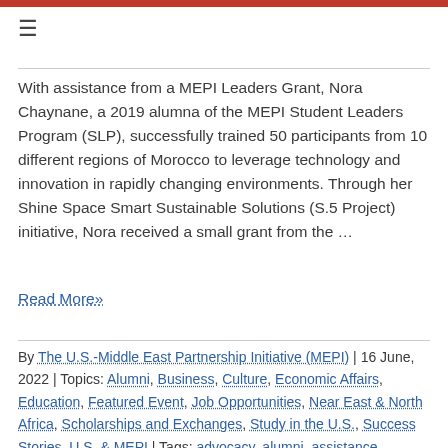≡
With assistance from a MEPI Leaders Grant, Nora Chaynane, a 2019 alumna of the MEPI Student Leaders Program (SLP), successfully trained 50 participants from 10 different regions of Morocco to leverage technology and innovation in rapidly changing environments. Through her Shine Space Smart Sustainable Solutions (S.5 Project) initiative, Nora received a small grant from the …
Read More»
By The U.S.-Middle East Partnership Initiative (MEPI) | 16 June, 2022 | Topics: Alumni, Business, Culture, Economic Affairs, Education, Featured Event, Job Opportunities, Near East & North Africa, Scholarships and Exchanges, Study in the U.S., Success Stories, U.S. & MEPI | Tags: advocacy, alumni, assistance, Business,